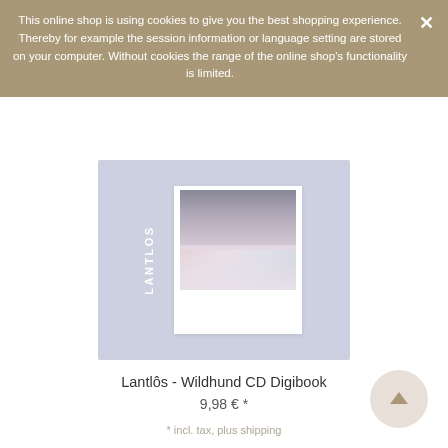This online shop is using cookies to give you the best shopping experience. Thereby for example the session information or language setting are stored on your computer. Without cookies the range of the online shop's functionality is limited.
[Figure (photo): Album cover for Lantlôs - Wildhund CD Digibook. Light blue/lavender background with a polaroid-style photo of a figure in a white dress against a dark background. The word LANTLOS is printed vertically on the left side.]
Lantlôs - Wildhund CD Digibook
9,98 € *
* incl. tax, plus shipping